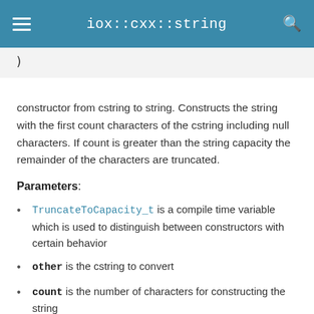iox::cxx::string
)
constructor from cstring to string. Constructs the string with the first count characters of the cstring including null characters. If count is greater than the string capacity the remainder of the characters are truncated.
Parameters:
TruncateToCapacity_t is a compile time variable which is used to distinguish between constructors with certain behavior
other is the cstring to convert
count is the number of characters for constructing the string